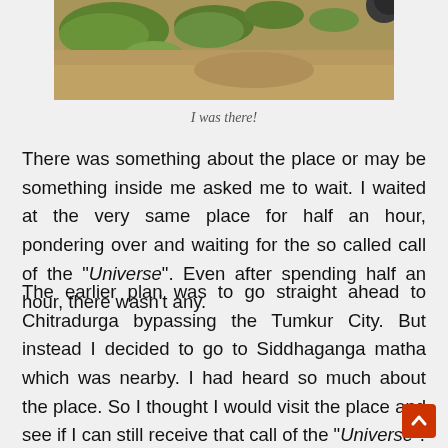[Figure (photo): Partial photo showing grass and dirt ground, cropped at top of page]
I was there!
There was something about the place or may be something inside me asked me to wait. I waited at the very same place for half an hour, pondering over and waiting for the so called call of the "Universe". Even after spending half an hour, there wasn't any.
The earlier plan was to go straight ahead to Chitradurga bypassing the Tumkur City. But instead I decided to go to Siddhaganga matha which was nearby. I had heard so much about the place. So I thought I would visit the place and see if I can still receive that call of the "Universe".